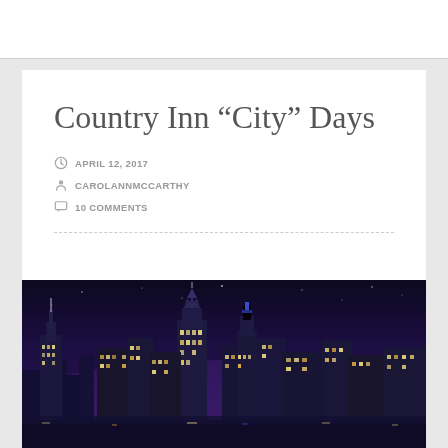Country Inn “City” Days
APRIL 12, 2017
CAROLANNMCCARTHY
10 COMMENTS
[Figure (photo): New York City skyline at night showing illuminated skyscrapers including the Empire State Building and Chrysler Building against a dark purple/blue sky]